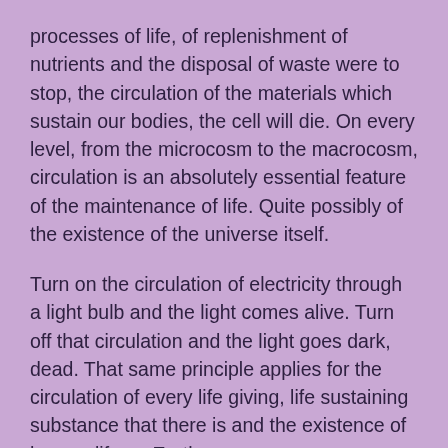processes of life, of replenishment of nutrients and the disposal of waste were to stop, the circulation of the materials which sustain our bodies, the cell will die. On every level, from the microcosm to the macrocosm, circulation is an absolutely essential feature of the maintenance of life. Quite possibly of the existence of the universe itself.
Turn on the circulation of electricity through a light bulb and the light comes alive. Turn off that circulation and the light goes dark, dead. That same principle applies for the circulation of every life giving, life sustaining substance that there is and the existence of human life on Earth.
The awareness of this inescapable truth within the natural world leads one to ask whether this same principle applies to the realm of human creations? For the...